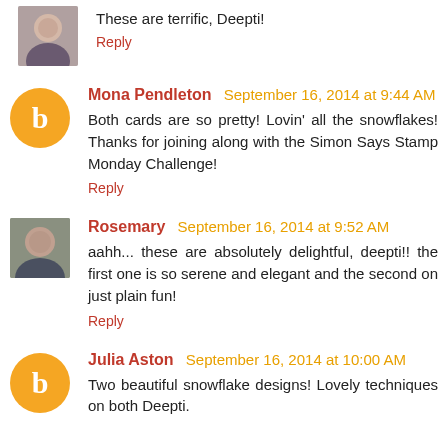These are terrific, Deepti!
Reply
Mona Pendleton September 16, 2014 at 9:44 AM
Both cards are so pretty! Lovin' all the snowflakes! Thanks for joining along with the Simon Says Stamp Monday Challenge!
Reply
Rosemary September 16, 2014 at 9:52 AM
aahh... these are absolutely delightful, deepti!! the first one is so serene and elegant and the second on just plain fun!
Reply
Julia Aston September 16, 2014 at 10:00 AM
Two beautiful snowflake designs! Lovely techniques on both Deepti.